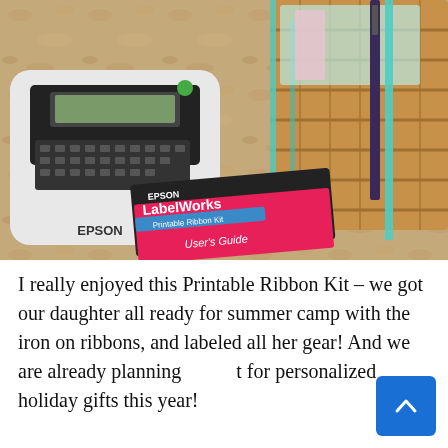[Figure (photo): Photo of an Epson LabelWorks Printable Ribbon Kit user's guide (pink cover) and an Epson label maker device on a granite countertop, with a turquoise wicker basket containing wrapped gifts in the background.]
I really enjoyed this Printable Ribbon Kit – we got our daughter all ready for summer camp with the iron on ribbons, and labeled all her gear! And we are already planning it for personalized holiday gifts this year!